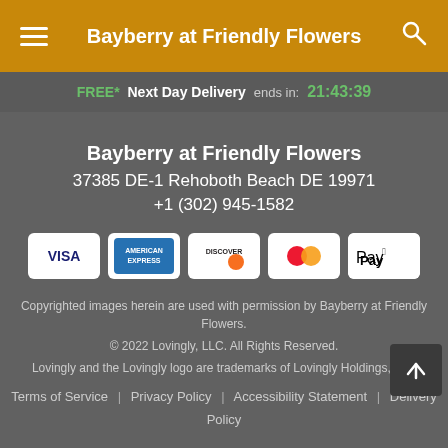Bayberry at Friendly Flowers
FREE* Next Day Delivery ends in: 21:43:39
Bayberry at Friendly Flowers
37385 DE-1 Rehoboth Beach DE 19971
+1 (302) 945-1582
[Figure (logo): Payment method icons: Visa, American Express, Discover, Mastercard, Apple Pay]
Copyrighted images herein are used with permission by Bayberry at Friendly Flowers.
© 2022 Lovingly, LLC. All Rights Reserved.
Lovingly and the Lovingly logo are trademarks of Lovingly Holdings, LLC
Terms of Service | Privacy Policy | Accessibility Statement | Delivery Policy